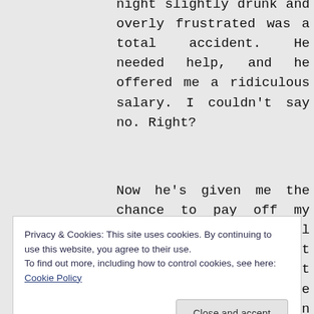night slightly drunk and overly frustrated was a total accident. He needed help, and he offered me a ridiculous salary. I couldn't say no. Right?
Now he's given me the chance to pay off my debts and take control of my life. I can't screw up this job. But as bad as I want to be good, I'm not sure I can fake it...
The way he watches me sends heat
Privacy & Cookies: This site uses cookies. By continuing to use this website, you agree to their use.
To find out more, including how to control cookies, see here: Cookie Policy
Close and accept